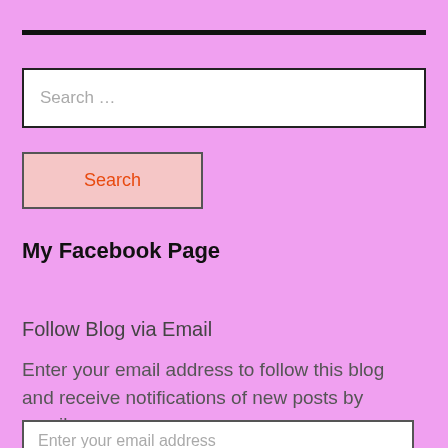[Figure (other): Horizontal black rule/divider line near top of page]
Search …
Search
My Facebook Page
Follow Blog via Email
Enter your email address to follow this blog and receive notifications of new posts by email.
Enter your email address